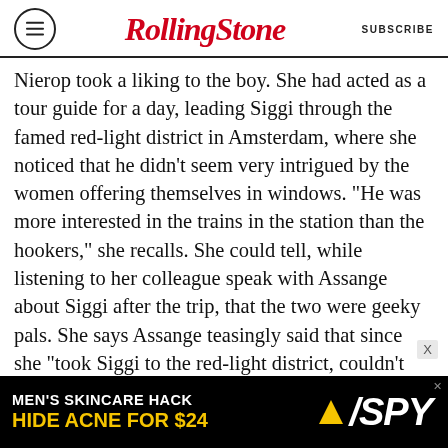Rolling Stone  SUBSCRIBE
Nierop took a liking to the boy. She had acted as a tour guide for a day, leading Siggi through the famed red-light district in Amsterdam, where she noticed that he didn't seem very intrigued by the women offering themselves in windows. “He was more interested in the trains in the station than the hookers,” she recalls. She could tell, while listening to her colleague speak with Assange about Siggi after the trip, that the two were geeky pals. She says Assange teasingly said that since she “took Siggi to the red-light district, couldn’t you have bought a girl for him?” Van Nierop thought Siggi’s relationship with Assange also explained why the boy seemed isolated. “If Julian
[Figure (other): Advertisement banner: MEN'S SKINCARE HACK HIDE ACNE FOR $24 with SPY logo]